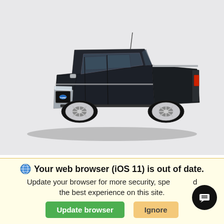[Figure (photo): A dark black/charcoal 2022 Ford F-150 Platinum pickup truck shown in a 3/4 front view on a light gray background. The truck features chrome accents, chrome wheels, and a chrome grille with a Ford oval badge.]
New 2022 Ford F-150 4WD
PLATINUM - COMING SOON - RESERVE NOW Pickup Crew Cab Pickup 10-
Your web browser (iOS 11) is out of date.
Update your browser for more security, speed and the best experience on this site.
Update browser
Ignore